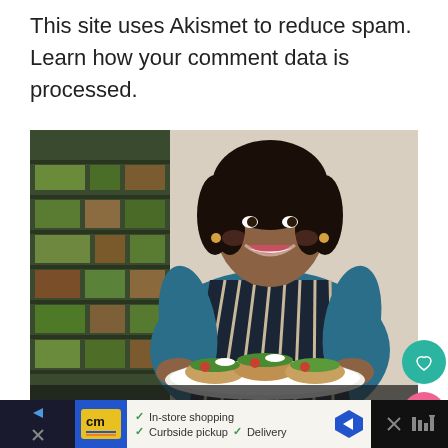This site uses Akismet to reduce spam. Learn how your comment data is processed.
[Figure (photo): A smiling woman wearing a dark blue t-shirt and a dark striped apron, holding a white plate of food (tacos with toppings), standing in front of shelves with produce in the background.]
[Figure (other): Advertisement bar at bottom with CM store logo, checkmarks indicating In-store shopping, Curbside pickup, Delivery, and a blue navigation arrow icon. Right side shows a dark panel with an X button and a partially visible logo.]